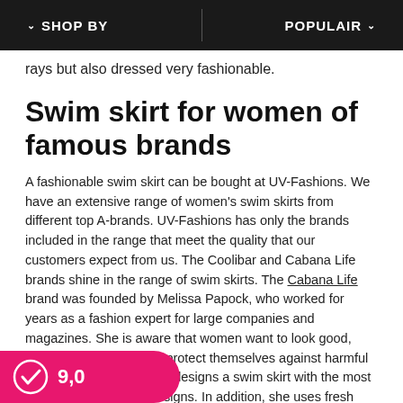SHOP BY | POPULAIR
rays but also dressed very fashionable.
Swim skirt for women of famous brands
A fashionable swim skirt can be bought at UV-Fashions. We have an extensive range of women's swim skirts from different top A-brands. UV-Fashions has only the brands included in the range that meet the quality that our customers expect from us. The Coolibar and Cabana Life brands shine in the range of swim skirts. The Cabana Life brand was founded by Melissa Papock, who worked for years as a fashion expert for large companies and magazines. She is aware that women want to look good, even when they want to protect themselves against harmful UV rays. Melissa Papock designs a swim skirt with the most beautiful and hippest designs. In addition, she uses fresh summer colors, which makes you feel like Coolibar is the right brand for women who love a k but want a top quality swim skirt. Coolibar has a